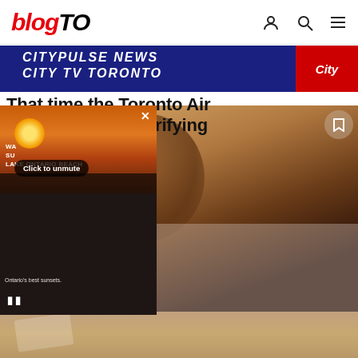blogTO
[Figure (screenshot): CityPulse News City TV Toronto news banner with City logo]
That time the Toronto Air Show ended in terrifying disaster
[Figure (photo): Video player popup showing Lake Ontario beach at sunset with pause button, close X button, unmute button, and caption 'Ontario's best sunsets.']
[Figure (photo): Main photo of a smiling young Black boy in a white shirt with red bus pattern, seated at an outdoor table]